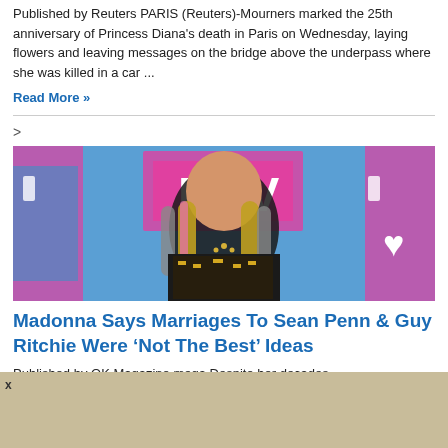Published by Reuters PARIS (Reuters)-Mourners marked the 25th anniversary of Princess Diana's death in Paris on Wednesday, laying flowers and leaving messages on the bridge above the underpass where she was killed in a car ...
Read More »
>
[Figure (photo): Woman at MTV event, wearing colorful braided hair and elaborate jewelry, standing in front of blue MTV backdrop with pink accents]
Madonna Says Marriages To Sean Penn & Guy Ritchie Were 'Not The Best' Ideas
Published by OK Magazine mega Despite her decades-